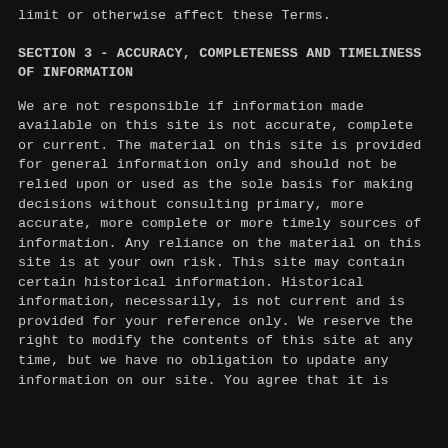limit or otherwise affect these Terms.
SECTION 3 - ACCURACY, COMPLETENESS AND TIMELINESS OF INFORMATION
We are not responsible if information made available on this site is not accurate, complete or current. The material on this site is provided for general information only and should not be relied upon or used as the sole basis for making decisions without consulting primary, more accurate, more complete or more timely sources of information. Any reliance on the material on this site is at your own risk. This site may contain certain historical information. Historical information, necessarily, is not current and is provided for your reference only. We reserve the right to modify the contents of this site at any time, but we have no obligation to update any information on our site. You agree that it is